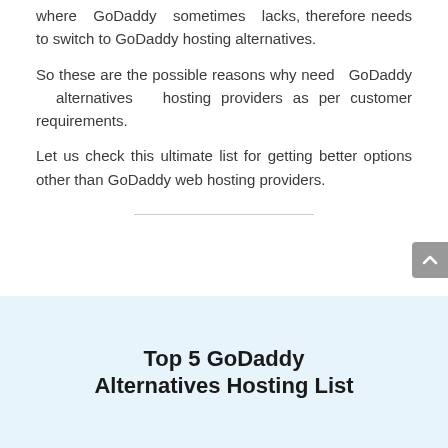where GoDaddy sometimes lacks, therefore needs to switch to GoDaddy hosting alternatives.
So these are the possible reasons why need GoDaddy alternatives hosting providers as per customer requirements.
Let us check this ultimate list for getting better options other than GoDaddy web hosting providers.
Top 5 GoDaddy Alternatives Hosting List